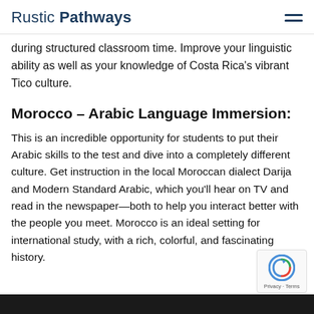Rustic Pathways
during structured classroom time. Improve your linguistic ability as well as your knowledge of Costa Rica's vibrant Tico culture.
Morocco – Arabic Language Immersion:
This is an incredible opportunity for students to put their Arabic skills to the test and dive into a completely different culture. Get instruction in the local Moroccan dialect Darija and Modern Standard Arabic, which you'll hear on TV and read in the newspaper—both to help you interact better with the people you meet. Morocco is an ideal setting for international study, with a rich, colorful, and fascinating history.